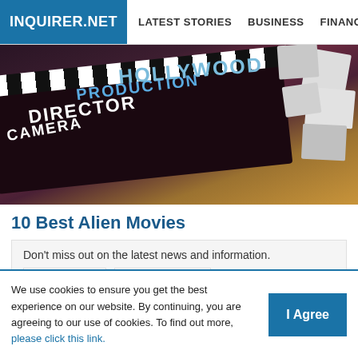INQUIRER.NET | LATEST STORIES | BUSINESS | FINANCE | TECHNOLO
[Figure (photo): Hollywood movie clapperboard with text HOLLYWOOD, PRODUCTION, DIRECTOR, CAMERA on a dark background with white index cards scattered on the right]
10 Best Alien Movies
Don't miss out on the latest news and information.
Like us  Follow us
We use cookies to ensure you get the best experience on our website. By continuing, you are agreeing to our use of cookies. To find out more, please click this link.